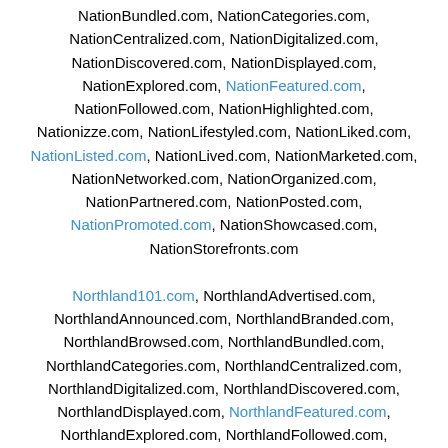NationBundled.com, NationCategories.com, NationCentralized.com, NationDigitalized.com, NationDiscovered.com, NationDisplayed.com, NationExplored.com, NationFeatured.com, NationFollowed.com, NationHighlighted.com, Nationizze.com, NationLifestyled.com, NationLiked.com, NationListed.com, NationLived.com, NationMarketed.com, NationNetworked.com, NationOrganized.com, NationPartnered.com, NationPosted.com, NationPromoted.com, NationShowcased.com, NationStorefronts.com
Northland101.com, NorthlandAdvertised.com, NorthlandAnnounced.com, NorthlandBranded.com, NorthlandBrowsed.com, NorthlandBundled.com, NorthlandCategories.com, NorthlandCentralized.com, NorthlandDigitalized.com, NorthlandDiscovered.com, NorthlandDisplayed.com, NorthlandFeatured.com, NorthlandExplored.com, NorthlandFollowed.com, NorthlandHighlighted.com, NorthlandHQ.com,